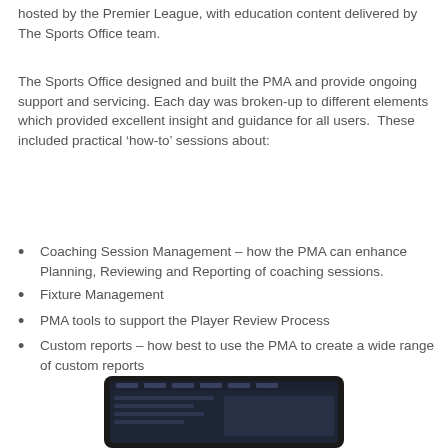hosted by the Premier League, with education content delivered by The Sports Office team.
The Sports Office designed and built the PMA and provide ongoing support and servicing. Each day was broken-up to different elements which provided excellent insight and guidance for all users. These included practical ‘how-to’ sessions about:
Coaching Session Management – how the PMA can enhance Planning, Reviewing and Reporting of coaching sessions.
Fixture Management
PMA tools to support the Player Review Process
Custom reports – how best to use the PMA to create a wide range of custom reports
[Figure (screenshot): Tablet device showing a dark-themed PMA application screen]